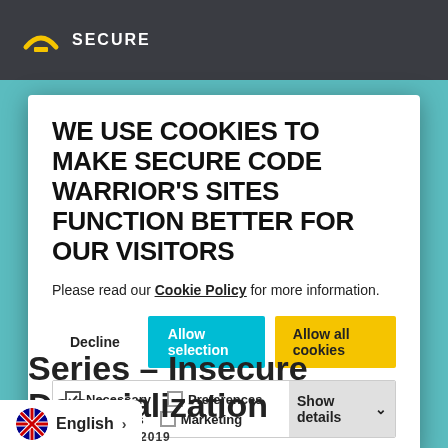SECURE CODE WARRIOR (navigation bar with logo)
WE USE COOKIES TO MAKE SECURE CODE WARRIOR'S SITES FUNCTION BETTER FOR OUR VISITORS
Please read our Cookie Policy for more information.
Decline | Allow selection | Allow all cookies
Necessary (checked) | Preferences | Statistics | Marketing | Show details
Series – Insecure Deserialization
SEPTEMBER 30, 2019
English